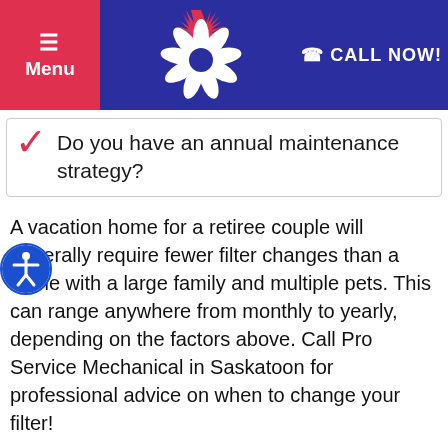Menu | [Logo] | CALL NOW!
Do you have an annual maintenance strategy?
A vacation home for a retiree couple will generally require fewer filter changes than a home with a large family and multiple pets. This can range anywhere from monthly to yearly, depending on the factors above. Call Pro Service Mechanical in Saskatoon for professional advice on when to change your filter!
Facing a late-night HVAC